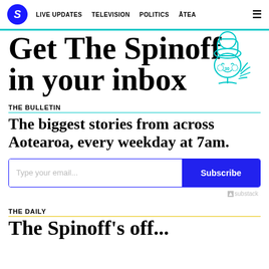S  LIVE UPDATES  TELEVISION  POLITICS  ĀTEA  ☰
Get The Spinoff in your inbox
[Figure (illustration): Teal/cyan line drawing of a cartoon chef face with chef hat, rosy cheeks, and a hand]
THE BULLETIN
The biggest stories from across Aotearoa, every weekday at 7am.
[Figure (screenshot): Email subscription form with 'Type your email...' placeholder and blue 'Subscribe' button, plus substack branding]
THE DAILY
The Spinoff's off...